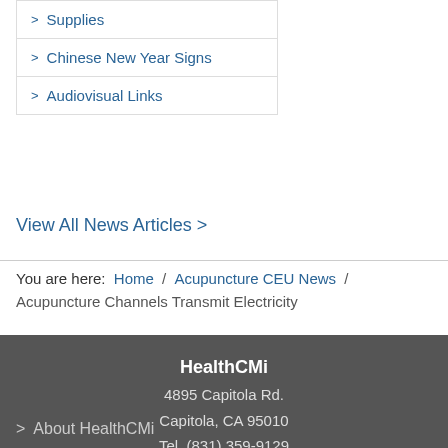> Supplies
> Chinese New Year Signs
> Audiovisual Links
View All News Articles >
You are here:  Home / Acupuncture CEU News / Acupuncture Channels Transmit Electricity
HealthCMi
4895 Capitola Rd.
Capitola, CA 95010
Tel. (831) 359-9129
> About HealthCMi